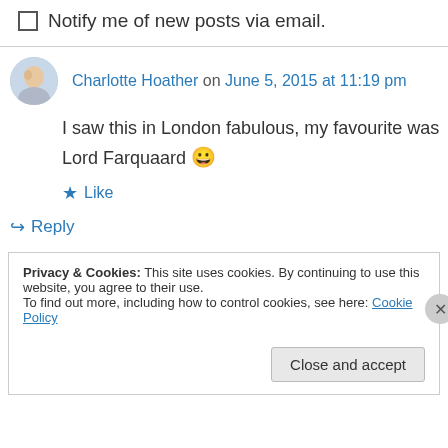Notify me of new posts via email.
Charlotte Hoather on June 5, 2015 at 11:19 pm
I saw this in London fabulous, my favourite was Lord Farquaard 😀
★ Like
↪ Reply
Privacy & Cookies: This site uses cookies. By continuing to use this website, you agree to their use.
To find out more, including how to control cookies, see here: Cookie Policy